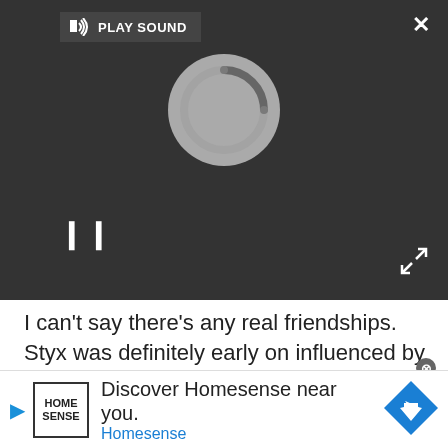[Figure (screenshot): Video player with dark background, loading spinner circle, play sound button, pause button (two vertical bars), close X button, and expand arrows icon.]
I can't say there's any real friendships. Styx was definitely early on influenced by Yes. They were really the first band from my vantage point that incorporated, full on, classical influences into rock music. Clearly that's something Styx embraced early on, and it's kind of what we do.
[Figure (infographic): Advertisement placeholder box with light grey background and 'Advertisement' label.]
[Figure (infographic): Bottom ad banner: Home Sense logo, text 'Discover Homesense near you.' and 'Homesense' in blue, blue diamond navigation icon, play triangle icon.]